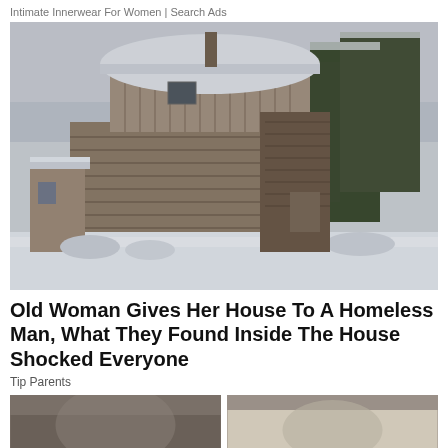Intimate Innerwear For Women | Search Ads
[Figure (photo): Snow-covered old wooden log cabin with a rounded roof, surrounded by snow-laden evergreen trees in a winter landscape]
Old Woman Gives Her House To A Homeless Man, What They Found Inside The House Shocked Everyone
Tip Parents
[Figure (photo): Two partial thumbnail photos side by side at bottom of page, partially cropped]